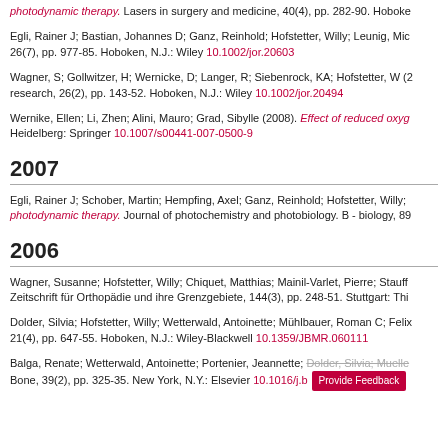photodynamic therapy. Lasers in surgery and medicine, 40(4), pp. 282-90. Hoboke...
Egli, Rainer J; Bastian, Johannes D; Ganz, Reinhold; Hofstetter, Willy; Leunig, Mic... 26(7), pp. 977-85. Hoboken, N.J.: Wiley 10.1002/jor.20603
Wagner, S; Gollwitzer, H; Wernicke, D; Langer, R; Siebenrock, KA; Hofstetter, W (2... research, 26(2), pp. 143-52. Hoboken, N.J.: Wiley 10.1002/jor.20494
Wernike, Ellen; Li, Zhen; Alini, Mauro; Grad, Sibylle (2008). Effect of reduced oxyg... Heidelberg: Springer 10.1007/s00441-007-0500-9
2007
Egli, Rainer J; Schober, Martin; Hempfing, Axel; Ganz, Reinhold; Hofstetter, Willy;... photodynamic therapy. Journal of photochemistry and photobiology. B - biology, 89...
2006
Wagner, Susanne; Hofstetter, Willy; Chiquet, Matthias; Mainil-Varlet, Pierre; Stauff... Zeitschrift für Orthopädie und ihre Grenzgebiete, 144(3), pp. 248-51. Stuttgart: Thi...
Dolder, Silvia; Hofstetter, Willy; Wetterwald, Antoinette; Mühlbauer, Roman C; Felix... 21(4), pp. 647-55. Hoboken, N.J.: Wiley-Blackwell 10.1359/JBMR.060111
Balga, Renate; Wetterwald, Antoinette; Portenier, Jeannette; Dolder, Silvia; Mueller... Bone, 39(2), pp. 325-35. New York, N.Y.: Elsevier 10.1016/j.b... Provide Feedback